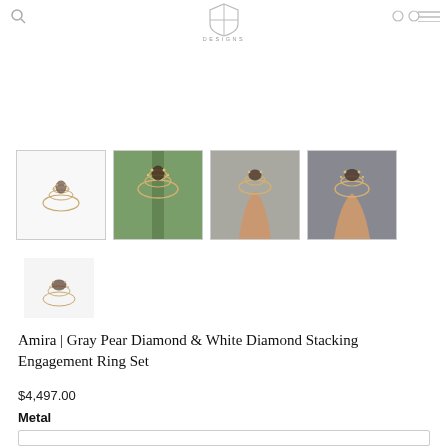DESIGNS (logo with shield icon)
[Figure (photo): Four thumbnail product photos of a gold ring set. First shows ring on white background, second on green plant, third and fourth shown on a hand against grey fabric.]
[Figure (photo): Single small thumbnail of gold ring set shown from side angle on white background.]
Amira | Gray Pear Diamond & White Diamond Stacking Engagement Ring Set
$4,497.00
Metal